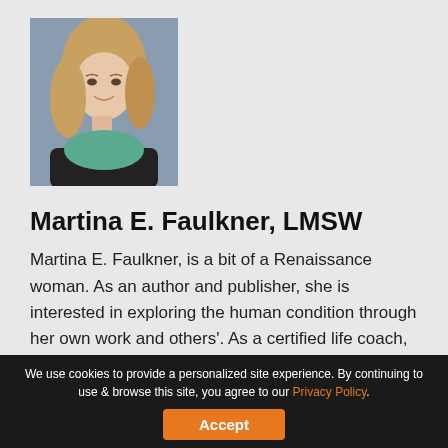[Figure (photo): Headshot photo of a woman with blonde hair wearing a green/teal scarf, smiling, with a blurred outdoor background]
Martina E. Faulkner, LMSW
Martina E. Faulkner, is a bit of a Renaissance woman. As an author and publisher, she is interested in exploring the human condition through her own work and others'. As a certified life coach, therapist, and Reiki Master Teacher, Martina…
Learn More
We use cookies to provide a personalized site experience. By continuing to use & browse this site, you agree to our Privacy Policy.
Accept